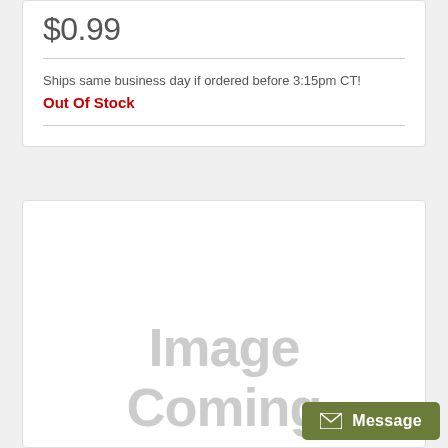$0.99
Ships same business day if ordered before 3:15pm CT!
Out Of Stock
[Figure (illustration): Image Coming placeholder with large gray text 'Image Coming' on white background]
Message